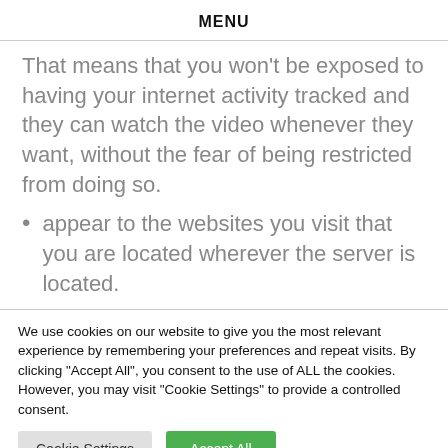MENU
That means that you won't be exposed to having your internet activity tracked and they can watch the video whenever they want, without the fear of being restricted from doing so.
appear to the websites you visit that you are located wherever the server is located.
We use cookies on our website to give you the most relevant experience by remembering your preferences and repeat visits. By clicking "Accept All", you consent to the use of ALL the cookies. However, you may visit "Cookie Settings" to provide a controlled consent.